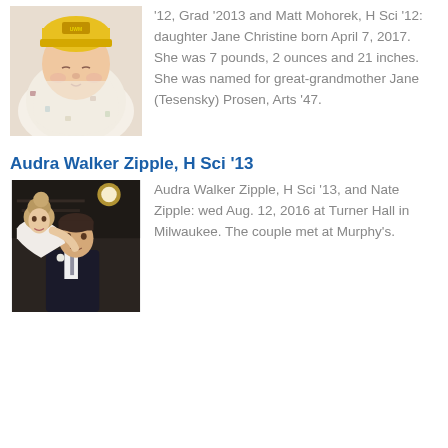[Figure (photo): Newborn baby wearing a yellow knit hat, swaddled in white blankets with decorative print]
'12, Grad '2013 and Matt Mohorek, H Sci '12: daughter Jane Christine born April 7, 2017. She was 7 pounds, 2 ounces and 21 inches. She was named for great-grandmother Jane (Tesensky) Prosen, Arts '47.
Audra Walker Zipple, H Sci '13
[Figure (photo): Wedding photo of a couple in formal attire, woman in white dress leaning over a man in a dark suit]
Audra Walker Zipple, H Sci '13, and Nate Zipple: wed Aug. 12, 2016 at Turner Hall in Milwaukee. The couple met at Murphy's.